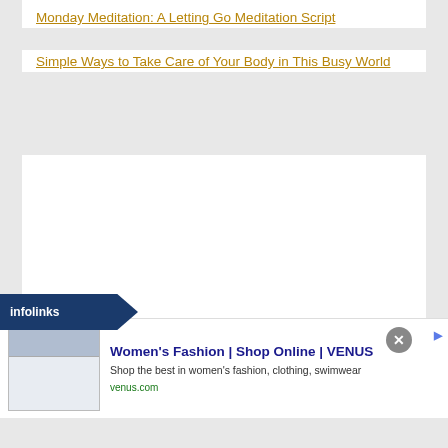Monday Meditation: A Letting Go Meditation Script
Simple Ways to Take Care of Your Body in This Busy World
[Figure (screenshot): White content card area, empty/blank]
[Figure (screenshot): Infolinks ad badge and VENUS women's fashion advertisement banner with close button and next arrow button. Ad shows: Women's Fashion | Shop Online | VENUS, Shop the best in women's fashion, clothing, swimwear, venus.com]